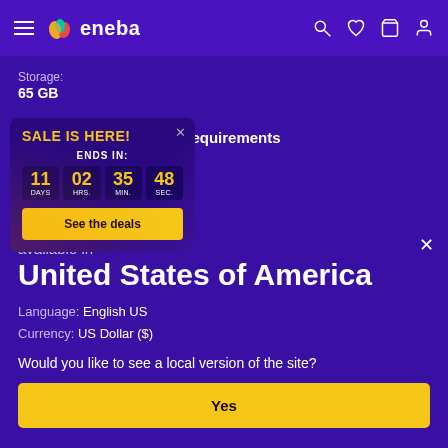eneba
Storage:
65 GB
Recommended system requirements
[Figure (screenshot): Sale popup overlay showing 'SALE IS HERE!' with countdown timer: 11 DAYS, 02 HRS., 35 MIN., 48 SEC. and a 'See the deals' button]
available in
United States of America
Language: English US
Currency: US Dollar ($)
Would you like to see a local version of the site?
Yes